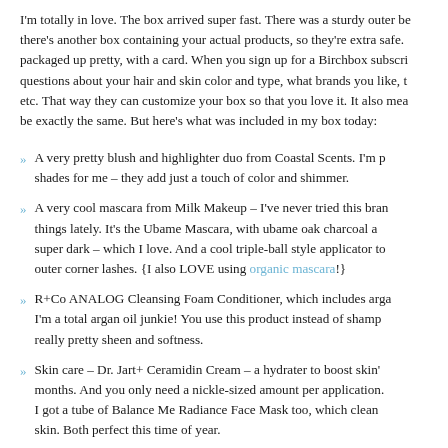I'm totally in love. The box arrived super fast. There was a sturdy outer box, and then there's another box containing your actual products, so they're extra safe. Everything is packaged up pretty, with a card. When you sign up for a Birchbox subscription, you answer questions about your hair and skin color and type, what brands you like, how much you spend, etc. That way they can customize your box so that you love it. It also means no two boxes will be exactly the same. But here's what was included in my box today:
A very pretty blush and highlighter duo from Coastal Scents. I'm pretty sure these are the right shades for me – they add just a touch of color and shimmer.
A very cool mascara from Milk Makeup – I've never tried this brand but have been seeing their things lately. It's the Ubame Mascara, with ubame oak charcoal as the pigment, which makes it super dark – which I love. And a cool triple-ball style applicator to really focus on those outer corner lashes. {I also LOVE using organic mascara!}
R+Co ANALOG Cleansing Foam Conditioner, which includes argan oil as a main ingredient – I'm a total argan oil junkie! You use this product instead of shampoo, and it leaves a really pretty sheen and softness.
Skin care – Dr. Jart+ Ceramidin Cream – a hydrater to boost skin's moisture for the cold months. And you only need a nickle-sized amount per application. And as a bonus product, I got a tube of Balance Me Radiance Face Mask too, which cleanses and brightens your skin. Both perfect this time of year.